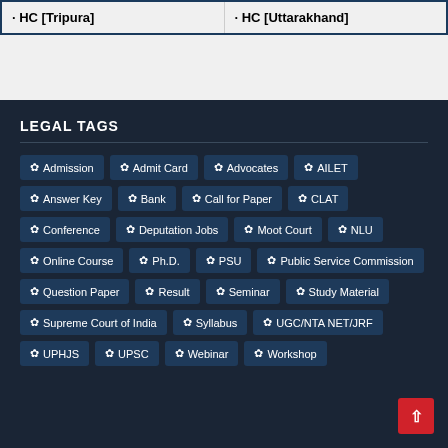• HC [Tripura]
• HC [Uttarakhand]
LEGAL TAGS
✿ Admission
✿ Admit Card
✿ Advocates
✿ AILET
✿ Answer Key
✿ Bank
✿ Call for Paper
✿ CLAT
✿ Conference
✿ Deputation Jobs
✿ Moot Court
✿ NLU
✿ Online Course
✿ Ph.D.
✿ PSU
✿ Public Service Commission
✿ Question Paper
✿ Result
✿ Seminar
✿ Study Material
✿ Supreme Court of India
✿ Syllabus
✿ UGC/NTA NET/JRF
✿ UPHJS
✿ UPSC
✿ Webinar
✿ Workshop